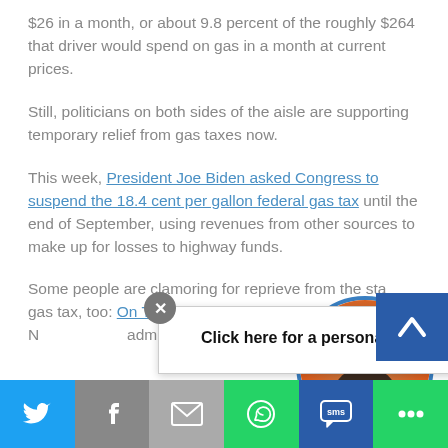$26 in a month, or about 9.8 percent of the roughly $264 that driver would spend on gas in a month at current prices.
Still, politicians on both sides of the aisle are supporting temporary relief from gas taxes now.
This week, President Joe Biden asked Congress to suspend the 18.4 cent per gallon federal gas tax until the end of September, using revenues from other sources to make up for losses to highway funds.
Some people are clamoring for reprieve from the state gas tax, too: On Tuesday, the editorial b[oard of the] Duluth N[ews Tribune urged the] administr[ation to]... h[elp]
[Figure (screenshot): Popup ad overlay reading 'Click here for a personal Message' with a close X button and a woman's profile photo on orange background]
[Figure (screenshot): Social media share bar at bottom with Twitter, Facebook, Email, WhatsApp, SMS, and More buttons]